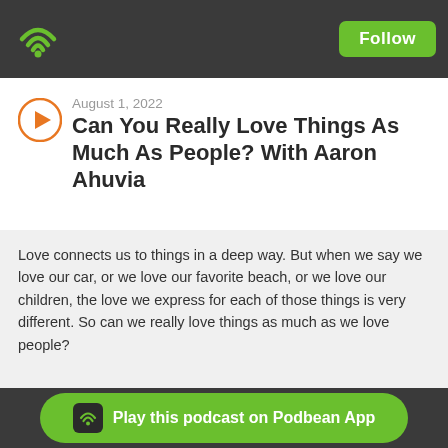Podbean app header with wifi logo and Follow button
August 1, 2022
Can You Really Love Things As Much As People? With Aaron Ahuvia
Love connects us to things in a deep way. But when we say we love our car, or we love our favorite beach, or we love our children, the love we express for each of those things is very different. So can we really love things as much as we love people?
Play this podcast on Podbean App